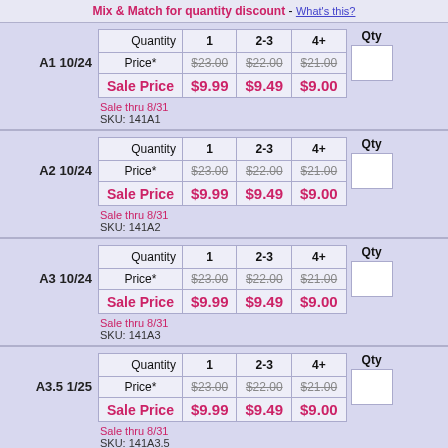Mix & Match for quantity discount - What's this?
| Quantity | 1 | 2-3 | 4+ |
| --- | --- | --- | --- |
| Price* | $23.00 | $22.00 | $21.00 |
| Sale Price | $9.99 | $9.49 | $9.00 |
A1 10/24
Sale thru 8/31
SKU: 141A1
| Quantity | 1 | 2-3 | 4+ |
| --- | --- | --- | --- |
| Price* | $23.00 | $22.00 | $21.00 |
| Sale Price | $9.99 | $9.49 | $9.00 |
A2 10/24
Sale thru 8/31
SKU: 141A2
| Quantity | 1 | 2-3 | 4+ |
| --- | --- | --- | --- |
| Price* | $23.00 | $22.00 | $21.00 |
| Sale Price | $9.99 | $9.49 | $9.00 |
A3 10/24
Sale thru 8/31
SKU: 141A3
| Quantity | 1 | 2-3 | 4+ |
| --- | --- | --- | --- |
| Price* | $23.00 | $22.00 | $21.00 |
| Sale Price | $9.99 | $9.49 | $9.00 |
A3.5 1/25
Sale thru 8/31